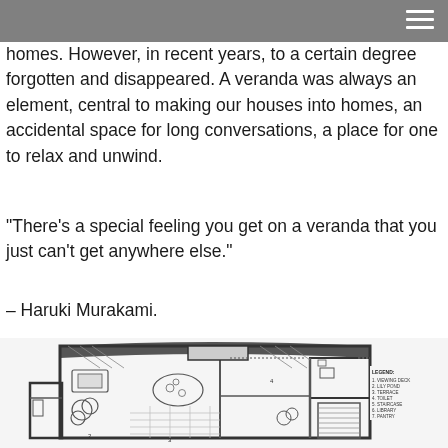homes. However, in recent years, to a certain degree forgotten and disappeared. A veranda was always an element, central to making our houses into homes, an accidental space for long conversations, a place for one to relax and unwind.
“There’s a special feeling you get on a veranda that you just can’t get anywhere else.”
– Haruki Murakami.
[Figure (engineering-diagram): Architectural floor plan of a building with curved and straight walls, showing rooms labeled with a legend: 1. Viewing Deck, 2. Lily Pond, 3. Terrace, 4. Toilet, 5. Staircase, 6. Library, 7. Pantry. The plan shows furniture, trees/plants, a lily pond, and various interior elements.]